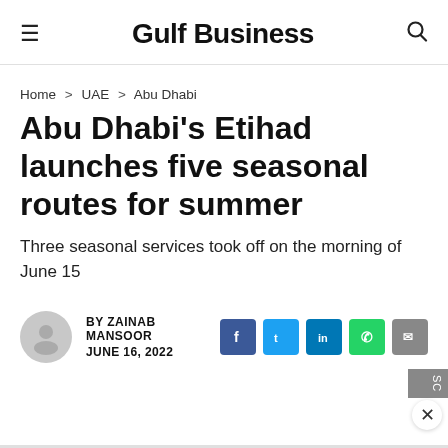Gulf Business
Home > UAE > Abu Dhabi
Abu Dhabi's Etihad launches five seasonal routes for summer
Three seasonal services took off on the morning of June 15
BY ZAINAB MANSOOR
JUNE 16, 2022